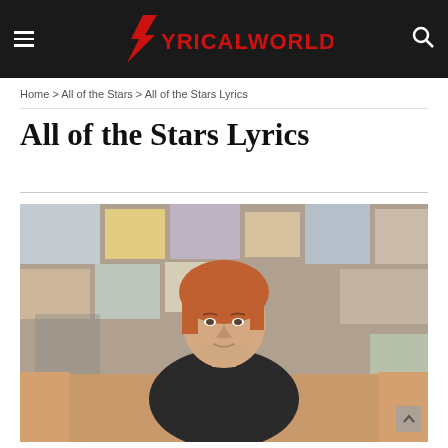LYRICALWORLDBOLLY
Home > All of the Stars > All of the Stars Lyrics
All of the Stars Lyrics
[Figure (photo): Photo of Ed Sheeran sitting on a couch in front of a collage wall background, wearing a dark jacket]